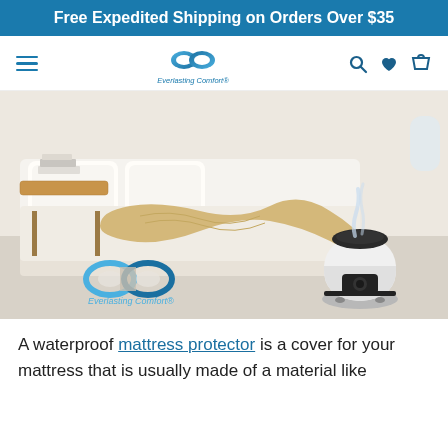Free Expedited Shipping on Orders Over $35
[Figure (photo): Everlasting Comfort logo and navigation bar with hamburger menu, search, heart, and cart icons]
[Figure (photo): Bedroom scene with white bed, knit blanket, wooden side table with books, and a white Everlasting Comfort humidifier on the floor emitting mist. Everlasting Comfort logo watermark in bottom-left corner.]
A waterproof mattress protector is a cover for your mattress that is usually made of a material like